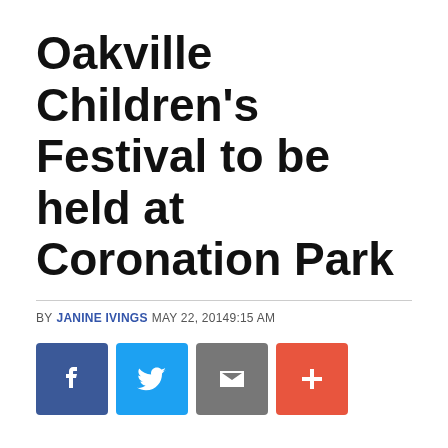Oakville Children's Festival to be held at Coronation Park
BY JANINE IVINGS MAY 22, 20149:15 AM
[Figure (infographic): Social sharing buttons: Facebook (blue), Twitter (light blue), Email (grey), More/plus (orange-red)]